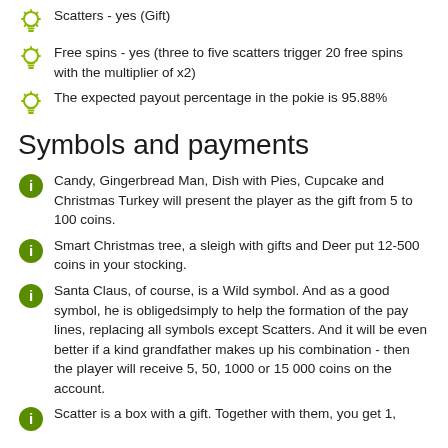Scatters - yes (Gift)
Free spins - yes (three to five scatters trigger 20 free spins with the multiplier of x2)
The expected payout percentage in the pokie is 95.88%
Symbols and payments
Candy, Gingerbread Man, Dish with Pies, Cupcake and Christmas Turkey will present the player as the gift from 5 to 100 coins.
Smart Christmas tree, a sleigh with gifts and Deer put 12-500 coins in your stocking.
Santa Claus, of course, is a Wild symbol. And as a good symbol, he is obligedsimply to help the formation of the pay lines, replacing all symbols except Scatters. And it will be even better if a kind grandfather makes up his combination - then the player will receive 5, 50, 1000 or 15 000 coins on the account.
Scatter is a box with a gift. Together with them, you get 1,